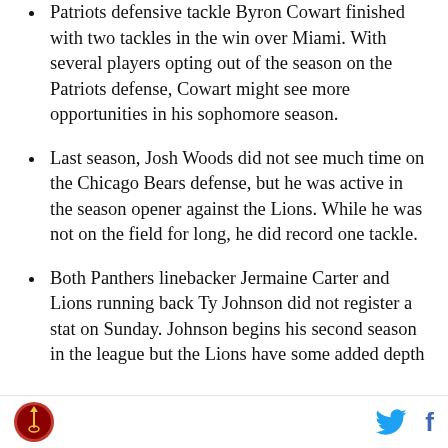Patriots defensive tackle Byron Cowart finished with two tackles in the win over Miami. With several players opting out of the season on the Patriots defense, Cowart might see more opportunities in his sophomore season.
Last season, Josh Woods did not see much time on the Chicago Bears defense, but he was active in the season opener against the Lions. While he was not on the field for long, he did record one tackle.
Both Panthers linebacker Jermaine Carter and Lions running back Ty Johnson did not register a stat on Sunday. Johnson begins his second season in the league but the Lions have some added depth